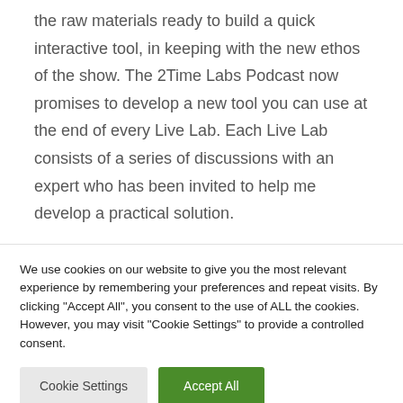the raw materials ready to build a quick interactive tool, in keeping with the new ethos of the show. The 2Time Labs Podcast now promises to develop a new tool you can use at the end of every Live Lab. Each Live Lab consists of a series of discussions with an expert who has been invited to help me develop a practical solution.
We use cookies on our website to give you the most relevant experience by remembering your preferences and repeat visits. By clicking "Accept All", you consent to the use of ALL the cookies. However, you may visit "Cookie Settings" to provide a controlled consent.